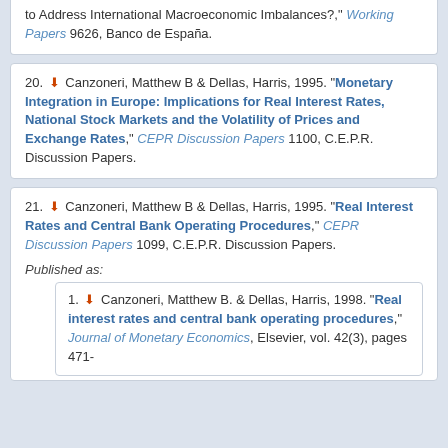to Address International Macroeconomic Imbalances?," Working Papers 9626, Banco de España.
20. Canzoneri, Matthew B & Dellas, Harris, 1995. "Monetary Integration in Europe: Implications for Real Interest Rates, National Stock Markets and the Volatility of Prices and Exchange Rates," CEPR Discussion Papers 1100, C.E.P.R. Discussion Papers.
21. Canzoneri, Matthew B & Dellas, Harris, 1995. "Real Interest Rates and Central Bank Operating Procedures," CEPR Discussion Papers 1099, C.E.P.R. Discussion Papers.
Published as:
1. Canzoneri, Matthew B. & Dellas, Harris, 1998. "Real interest rates and central bank operating procedures," Journal of Monetary Economics, Elsevier, vol. 42(3), pages 471-